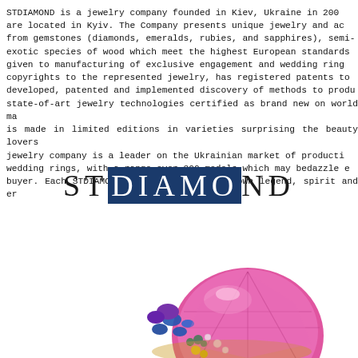STDIAMOND is a jewelry company founded in Kiev, Ukraine in 200 are located in Kyiv. The Company presents unique jewelry and ac from gemstones (diamonds, emeralds, rubies, and sapphires), semi- exotic species of wood which meet the highest European standards given to manufacturing of exclusive engagement and wedding ring copyrights to the represented jewelry, has registered patents to developed, patented and implemented discovery of methods to produ state-of-art jewelry technologies certified as brand new on world ma is made in limited editions in varieties surprising the beauty lovers jewelry company is a leader on the Ukrainian market of producti wedding rings, with a range over 300 models which may bedazzle e buyer. Each STDIAMOND product carries its own legend, spirit and er
[Figure (logo): STDIAMOND logo text with IAMO letters highlighted in dark navy blue background]
[Figure (photo): Close-up photograph of an ornate jewelry piece featuring a large faceted pink/magenta gemstone surrounded by colorful smaller gemstones including blue sapphires, green emeralds, purple amethysts, and white diamonds set in gold]